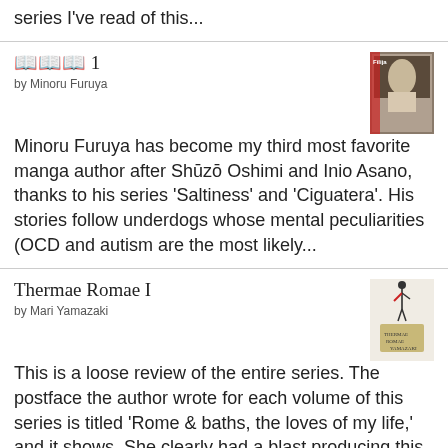series I've read of this...
??? 1
by Minoru Furuya
[Figure (photo): Book cover image for manga volume 1 by Minoru Furuya]
Minoru Furuya has become my third most favorite manga author after Shūzō Oshimi and Inio Asano, thanks to his series 'Saltiness' and 'Ciguatera'. His stories follow underdogs whose mental peculiarities (OCD and autism are the most likely...
Thermae Romae I
by Mari Yamazaki
[Figure (photo): Book cover image for Thermae Romae I by Mari Yamazaki]
This is a loose review of the entire series. The postface the author wrote for each volume of this series is titled 'Rome & baths, the loves of my life,' and it shows. She clearly had a blast producing this manga, which gave her the opp...
The Hour of the Star
by Clarice Lispector
[Figure (photo): Book cover image for The Hour of the Star by Clarice Lispector]
From time to time I get reminded of authors